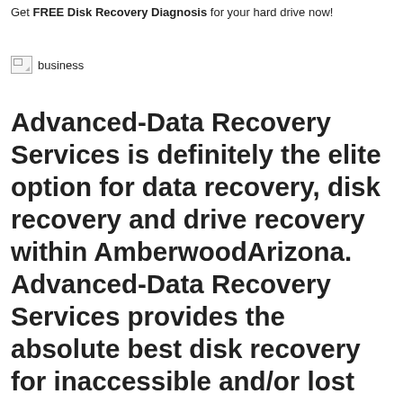Get FREE Disk Recovery Diagnosis for your hard drive now!
[Figure (other): Broken/missing image placeholder with alt text 'business']
Advanced-Data Recovery Services is definitely the elite option for data recovery, disk recovery and drive recovery within AmberwoodArizona. Advanced-Data Recovery Services provides the absolute best disk recovery for inaccessible and/or lost data from all models of media devices, such as external and internal hard drives, USB flash drives, and memory sticks, regardless of which operating system, Mac, Windows, or Linux, you use. We also recover lost photos, contacts and text messages from